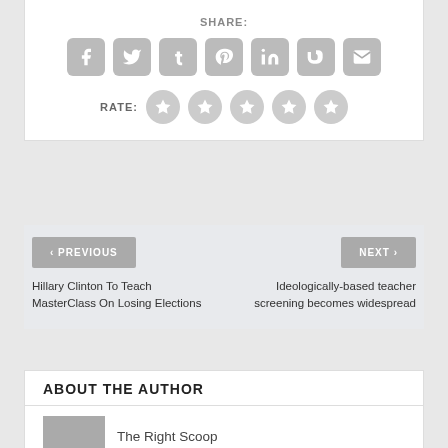SHARE:
[Figure (infographic): Social media share icons: Facebook, Twitter, Tumblr, Pinterest, LinkedIn, StumbleUpon, Email — all gray rounded square buttons]
RATE: (5 star rating circles)
< PREVIOUS
NEXT >
Hillary Clinton To Teach MasterClass On Losing Elections
Ideologically-based teacher screening becomes widespread
ABOUT THE AUTHOR
The Right Scoop